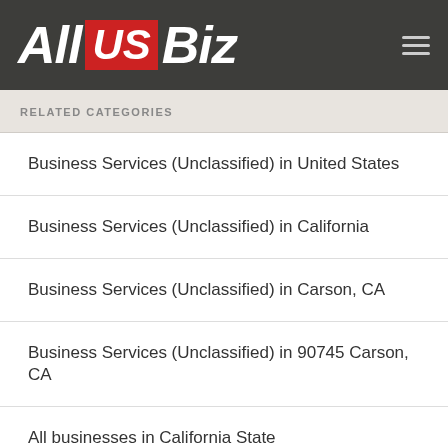[Figure (logo): All US Biz logo on dark gray header background with hamburger menu icon]
RELATED CATEGORIES
Business Services (Unclassified) in United States
Business Services (Unclassified) in California
Business Services (Unclassified) in Carson, CA
Business Services (Unclassified) in 90745 Carson, CA
All businesses in California State
All businesses in Carson, CA
All businesses in 90745 Carson, CA